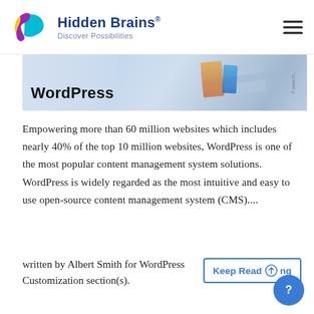Hidden Brains® — Discover Possibilities
[Figure (screenshot): WordPress banner image with bold 'WordPress' text on left and a person using a laptop on right with watermark overlay]
Empowering more than 60 million websites which includes nearly 40% of the top 10 million websites, WordPress is one of the most popular content management system solutions. WordPress is widely regarded as the most intuitive and easy to use open-source content management system (CMS)....
written by Albert Smith for WordPress Customization section(s).